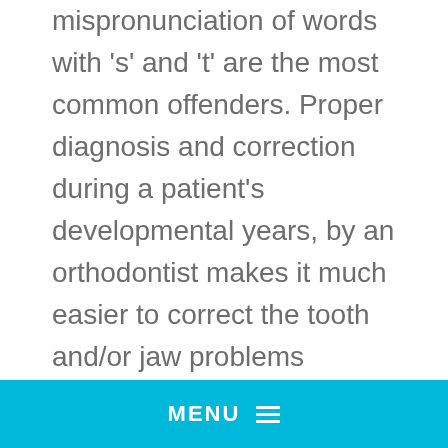mispronunciation of words with 's' and 't' are the most common offenders. Proper diagnosis and correction during a patient's developmental years, by an orthodontist makes it much easier to correct the tooth and/or jaw problems associated with poor speech habits. The American Association of Orthodontists recommends that all children be evaluated by age 7.
Common Causes of Many Speech Impediments?
An overjet (buck teeth) or openbite, or
MENU ≡